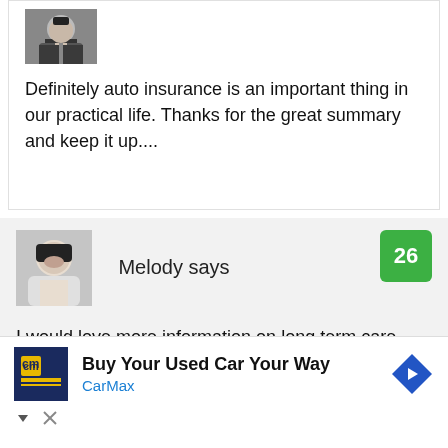[Figure (photo): Man in suit avatar photo (partial, top portion visible)]
Definitely auto insurance is an important thing in our practical life. Thanks for the great summary and keep it up....
[Figure (photo): Photo of a woman named Melody (dark hair, white clothing)]
Melody says
26
I would love more information on long term care policies. I was one of a team of family that
[Figure (other): CarMax advertisement: Buy Your Used Car Your Way - CarMax with logo and diamond arrow icon]